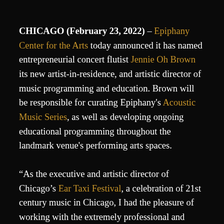CHICAGO (February 23, 2022) – Epiphany Center for the Arts today announced it has named entrepreneurial concert flutist Jennie Oh Brown its new artist-in-residence, and artistic director of music programming and education. Brown will be responsible for curating Epiphany's Acoustic Music Series, as well as developing ongoing educational programming throughout the landmark venue's performing arts spaces.
“As the executive and artistic director of Chicago’s Ear Taxi Festival, a celebration of 21st century music in Chicago, I had the pleasure of working with the extremely professional and courteous team at Epiphany Center for the Arts for the past two years,” said Brown. “Throughout our day of programming